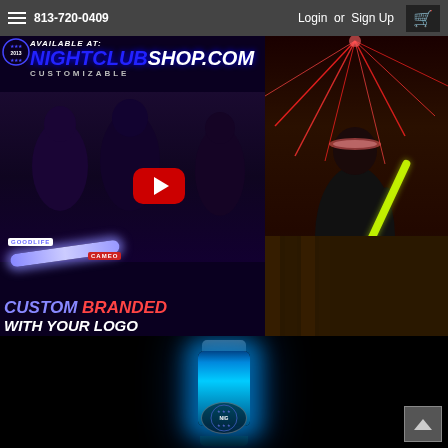813-720-0409  Login or Sign Up
[Figure (screenshot): NightclubShop.com custom branded glow sticks promotional video thumbnail with YouTube play button. Left panel shows 'AVAILABLE AT: NIGHTCLUBSHOP.COM CUSTOMIZABLE' header, two women holding glowing custom-branded sticks labeled GOODLIFE and CAMEO, with text 'CUSTOM BRANDED WITH YOUR LOGO'. Right panel shows performer at nightclub with red laser lights.]
[Figure (photo): Blue glowing LED foam stick product with NightclubShop logo/branding at bottom, shown glowing blue against black background.]